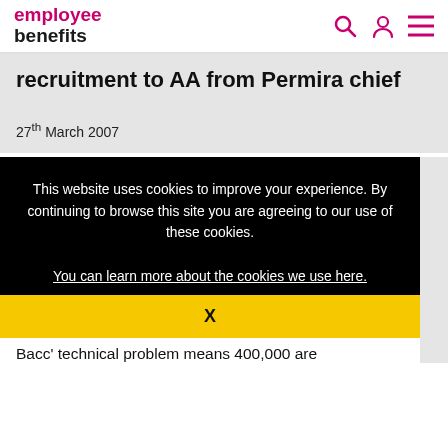employee benefits
recruitment to AA from Permira chief
27th March 2007
This website uses cookies to improve your experience. By continuing to browse this site you are agreeing to our use of these cookies.
You can learn more about the cookies we use here.
X
Bacc' technical problem means 400,000 are